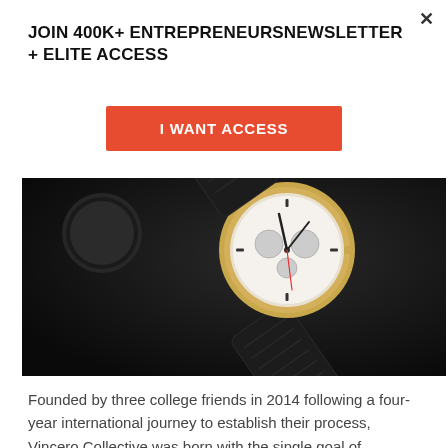×
JOIN 400K+ ENTREPRENEURSNEWSLETTER + ELITE ACCESS
I WANT ACCESS
[Figure (photo): A luxury chronograph watch with a white dial and gold case, black leather strap, photographed on a dark black surface]
Founded by three college friends in 2014 following a four-year international journey to establish their process, Vincero Collective was born with the single goal of outfitting the world's most ambitious...